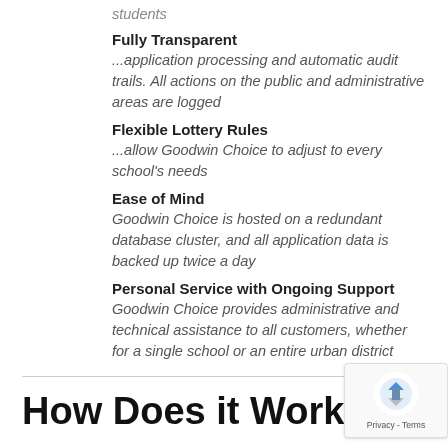students
Fully Transparent
...application processing and automatic audit trails. All actions on the public and administrative areas are logged
Flexible Lottery Rules
...allow Goodwin Choice to adjust to every school's needs
Ease of Mind
Goodwin Choice is hosted on a redundant database cluster, and all application data is backed up twice a day
Personal Service with Ongoing Support
Goodwin Choice provides administrative and technical assistance to all customers, whether for a single school or an entire urban district
How Does it Work?
Parents can register for an account at any time, choose the school group they wish to apply to